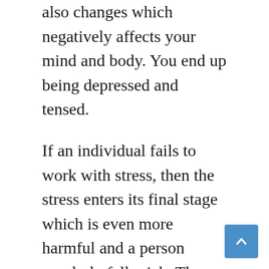also changes which negatively affects your mind and body. You end up being depressed and tensed.
If an individual fails to work with stress, then the stress enters its final stage which is even more harmful and a person regularly falls sick. The immune system gets weakened creating trouble for the person. Under the exhaustion stage, in extreme cases, even death is possible.
Thus, it becomes very important for each of us to identify the type of stress and its